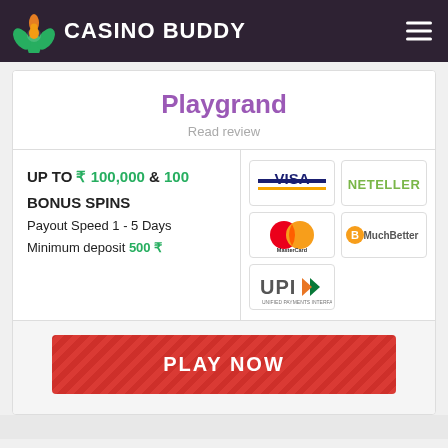CASINO BUDDY
Playgrand
Read review
UP TO ₹ 100,000 & 100 BONUS SPINS
Payout Speed 1 - 5 Days
Minimum deposit 500 ₹
[Figure (logo): Payment method logos: VISA, NETELLER, MasterCard, MuchBetter, UPI]
PLAY NOW